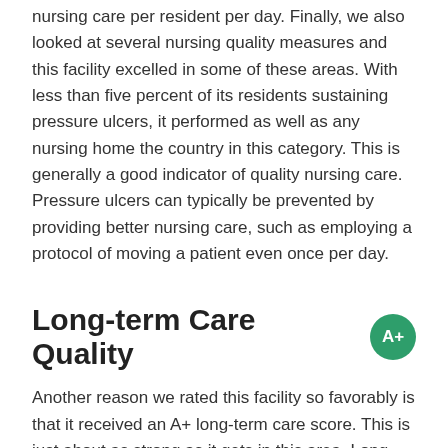nursing care per resident per day. Finally, we also looked at several nursing quality measures and this facility excelled in some of these areas. With less than five percent of its residents sustaining pressure ulcers, it performed as well as any nursing home the country in this category. This is generally a good indicator of quality nursing care. Pressure ulcers can typically be prevented by providing better nursing care, such as employing a protocol of moving a patient even once per day.
Long-term Care Quality A+
Another reason we rated this facility so favorably is that it received an A+ long-term care score. This is just about as strong as it gets in this area. Long-term care scores of this caliber generally require both around the